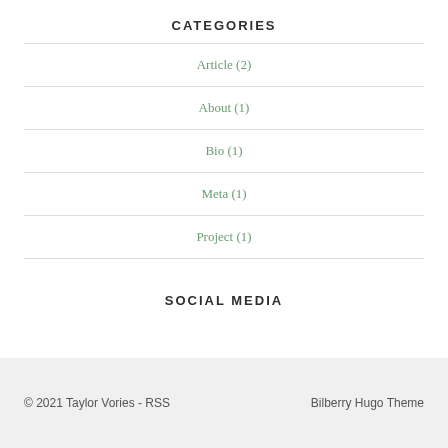CATEGORIES
Article (2)
About (1)
Bio (1)
Meta (1)
Project (1)
SOCIAL MEDIA
© 2021 Taylor Vories - RSS    Bilberry Hugo Theme